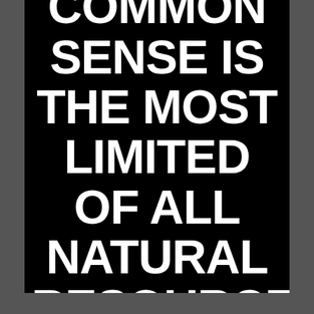[Figure (other): Black background image with large bold white uppercase text reading: COMMON SENSE IS THE MOST LIMITED OF ALL NATURAL RESOURCES (partially cut off at bottom)]